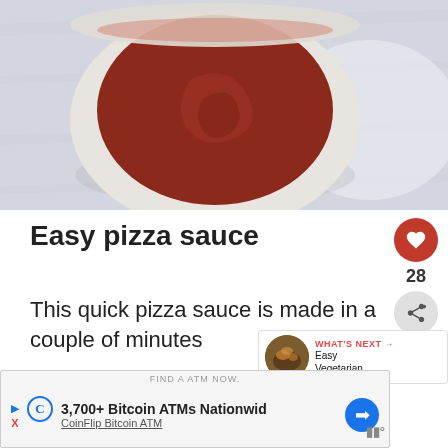[Figure (photo): Top-down view of a white bowl filled with dark red tomato pizza sauce on a white wooden surface background]
Easy pizza sauce
This quick pizza sauce is made in a couple of minutes
[Figure (infographic): Social sidebar with heart/like button showing 28 likes and a share button with tag icons]
[Figure (infographic): What's Next panel with thumbnail and text: Easy Vegetarian...]
[Figure (infographic): Advertisement banner: FIND A ATM NOW. 3,700+ Bitcoin ATMs Nationwid CoinFlip Bitcoin ATM]